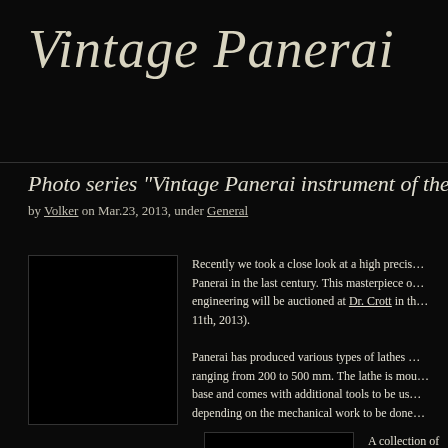Vintage Panerai
Photo series “Vintage Panerai instrument of the w…
by Volker on Mar.23, 2013, under General
[Figure (photo): Black image placeholder for a vintage Panerai instrument photo]
Recently we took a close look at a high precision instrument made by Panerai in the last century. This masterpiece of engineering will be auctioned at Dr. Crott in the… 11th, 2013).

Panerai has produced various types of lathes ranging from 200 to 500 mm. The lathe is mounted on a base and comes with additional tools to be used depending on the mechanical work to be done…
[Figure (photo): Black image placeholder for a second vintage Panerai photo]
A collection of springs… the auction too. The famous GPF lo… Figlio) on the head… The drill chuck bea… well and the numb… matriculation num…